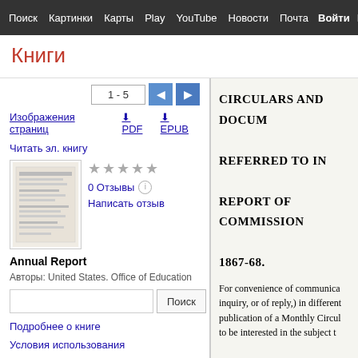Поиск  Картинки  Карты  Play  YouTube  Новости  Почта  Войти  Ещё
Книги
1 - 5
Изображения страниц   PDF   EPUB
Читать эл. книгу
0 Отзывы
Написать отзыв
Annual Report
Авторы: United States. Office of Education
Подробнее о книге
Условия использования
CIRCULARS AND DOCUM
REFERRED TO IN
REPORT OF COMMISSION
1867-68.

For convenience of communica
inquiry, or of reply,) in different
publication of a Monthly Circul
to be interested in the subject t